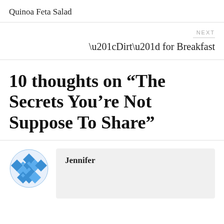Quinoa Feta Salad
NEXT
“Dirt” for Breakfast
10 thoughts on “The Secrets You’re Not Suppose To Share”
[Figure (illustration): Blue geometric decorative avatar icon with diamond/quilt pattern]
Jennifer